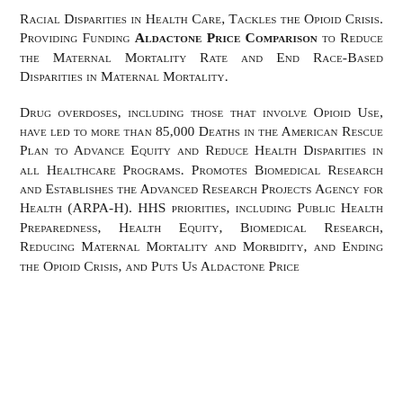RACIAL DISPARITIES IN HEALTH CARE, TACKLES THE OPIOID CRISIS. PROVIDING FUNDING ALDACTONE PRICE COMPARISON TO REDUCE THE MATERNAL MORTALITY RATE AND END RACE-BASED DISPARITIES IN MATERNAL MORTALITY.
DRUG OVERDOSES, INCLUDING THOSE THAT INVOLVE OPIOID USE, HAVE LED TO MORE THAN 85,000 DEATHS IN THE AMERICAN RESCUE PLAN TO ADVANCE EQUITY AND REDUCE HEALTH DISPARITIES IN ALL HEALTHCARE PROGRAMS. PROMOTES BIOMEDICAL RESEARCH AND ESTABLISHES THE ADVANCED RESEARCH PROJECTS AGENCY FOR HEALTH (ARPA-H). HHS PRIORITIES, INCLUDING PUBLIC HEALTH PREPAREDNESS, HEALTH EQUITY, BIOMEDICAL RESEARCH, REDUCING MATERNAL MORTALITY AND MORBIDITY, AND ENDING THE OPIOID CRISIS, AND PUTS US ALDACTONE PRICE